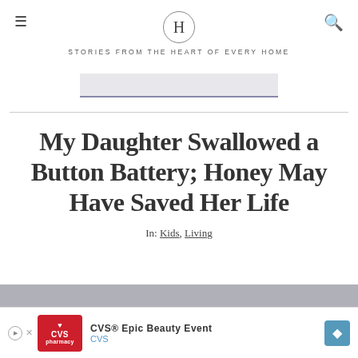H — STORIES FROM THE HEART OF EVERY HOME
[Figure (other): Advertisement banner (light gray/blue rectangle with underline)]
My Daughter Swallowed a Button Battery; Honey May Have Saved Her Life
In: Kids, Living
[Figure (other): CVS Epic Beauty Event advertisement banner at bottom of page]